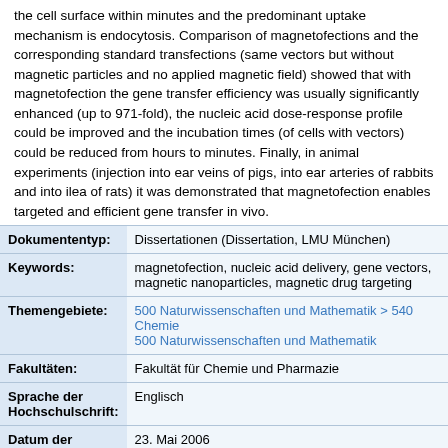the cell surface within minutes and the predominant uptake mechanism is endocytosis. Comparison of magnetofections and the corresponding standard transfections (same vectors but without magnetic particles and no applied magnetic field) showed that with magnetofection the gene transfer efficiency was usually significantly enhanced (up to 971-fold), the nucleic acid dose-response profile could be improved and the incubation times (of cells with vectors) could be reduced from hours to minutes. Finally, in animal experiments (injection into ear veins of pigs, into ear arteries of rabbits and into ilea of rats) it was demonstrated that magnetofection enables targeted and efficient gene transfer in vivo.
| Field | Value |
| --- | --- |
| Dokumententyp: | Dissertationen (Dissertation, LMU München) |
| Keywords: | magnetofection, nucleic acid delivery, gene vectors, magnetic nanoparticles, magnetic drug targeting |
| Themengebiete: | 500 Naturwissenschaften und Mathematik > 540 Chemie
500 Naturwissenschaften und Mathematik |
| Fakultäten: | Fakultät für Chemie und Pharmazie |
| Sprache der Hochschulschrift: | Englisch |
| Datum der mündlichen Prüfung: | 23. Mai 2006 |
| 1. | Wagner, Ernst |